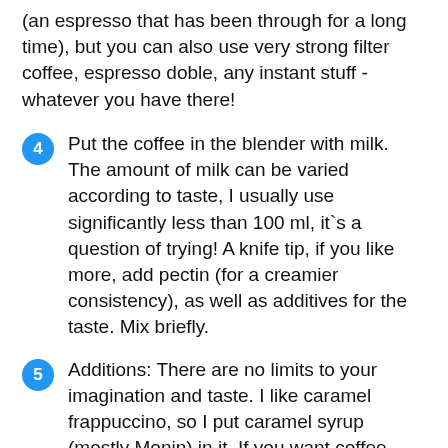(an espresso that has been through for a long time), but you can also use very strong filter coffee, espresso doble, any instant stuff - whatever you have there!
4  Put the coffee in the blender with milk. The amount of milk can be varied according to taste, I usually use significantly less than 100 ml, it`s a question of trying! A knife tip, if you like more, add pectin (for a creamier consistency), as well as additives for the taste. Mix briefly.
5  Additions: There are no limits to your imagination and taste. I like caramel frappuccino, so I put caramel syrup (mostly Monin) in it. If you want coffee frappuccino, just use brown cane sugar. There are thick chocolate sauces (e.g. also from Monin), together with dark cocoa powder it makes a delicious moccacino. If you like Java-Chip, you